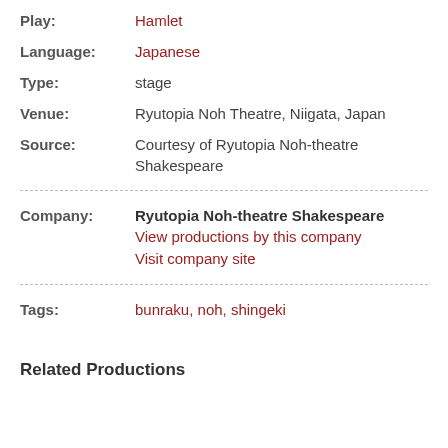Play: Hamlet
Language: Japanese
Type: stage
Venue: Ryutopia Noh Theatre, Niigata, Japan
Source: Courtesy of Ryutopia Noh-theatre Shakespeare
Company: Ryutopia Noh-theatre Shakespeare
View productions by this company
Visit company site
Tags: bunraku, noh, shingeki
Related Productions